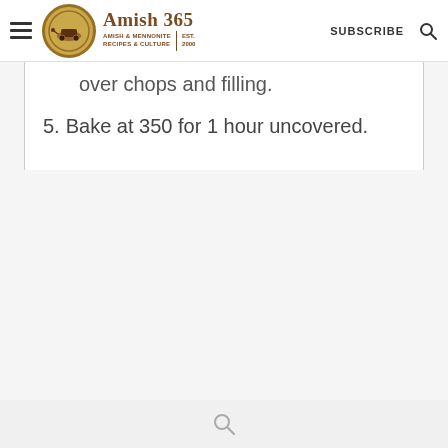Amish 365 — AMISH & MENNONITE RECIPES & CULTURE | EST. 2000 | SUBSCRIBE
over chops and filling.
5. Bake at 350 for 1 hour uncovered.